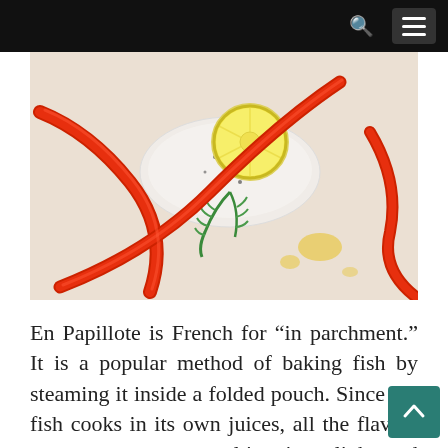[Figure (photo): Overhead view of fish fillet on parchment paper with red pepper strips, lemon slice, dill sprigs, and olive oil]
En Papillote is French for “in parchment.” It is a popular method of baking fish by steaming it inside a folded pouch. Since the fish cooks in its own juices, all the flavors are concentrated, resulting in a light and tasty product. Typically, parchment paper is used to seal in the